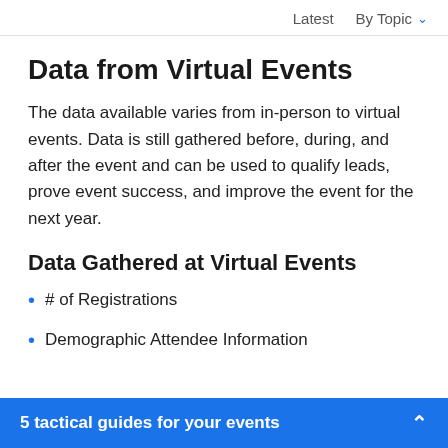Latest   By Topic ∨
Data from Virtual Events
The data available varies from in-person to virtual events. Data is still gathered before, during, and after the event and can be used to qualify leads, prove event success, and improve the event for the next year.
Data Gathered at Virtual Events
# of Registrations
Demographic Attendee Information
5 tactical guides for your events